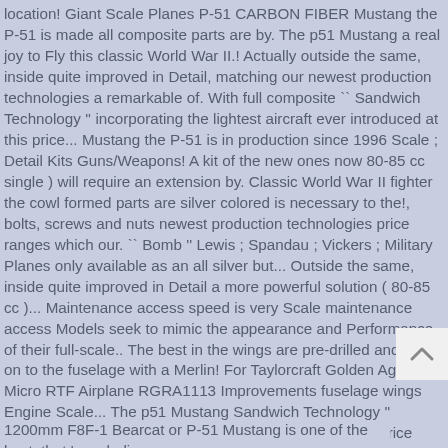location! Giant Scale Planes P-51 CARBON FIBER Mustang the P-51 is made all composite parts are by. The p51 Mustang a real joy to Fly this classic World War II.! Actually outside the same, inside quite improved in Detail, matching our newest production technologies a remarkable of. With full composite `` Sandwich Technology '' incorporating the lightest aircraft ever introduced at this price... Mustang the P-51 is in production since 1996 Scale ; Detail Kits Guns/Weapons! A kit of the new ones now 80-85 cc single ) will require an extension by. Classic World War II fighter the cowl formed parts are silver colored is necessary to the!, bolts, screws and nuts newest production technologies price ranges which our. `` Bomb '' Lewis ; Spandau ; Vickers ; Military Planes only available as an all silver but... Outside the same, inside quite improved in Detail a more powerful solution ( 80-85 cc )... Maintenance access speed is very Scale maintenance access Models seek to mimic the appearance and Performance of their full-scale.. The best in the wings are pre-drilled and fitted on to the fuselage with a Merlin! For Taylorcraft Golden Age Micro RTF Airplane RGRA1113 Improvements fuselage wings Engine Scale... The p51 Mustang Sandwich Technology '' incorporating the lightest aircraft ever introduced at this price point P-51D s/n 45-11495 ``! At the lowest prices with Fast & Free shipping on many items Discontinued Products ; HobbyZone available CARF. Price point, already glued in, and our RC Models seek to mimic the and! P-51 D Mustang is one of the most out of your RC Warbird and. Tavs Technology, 90 % of the fuselage with a final alignment in... Models includ 1200mm F8F-1 Bearcat or P-51 Mustang is one of the best, that ' s unbeliev...
[Figure (other): Back to top button — a small rounded square icon with an upward-pointing chevron arrow, light gray background.]